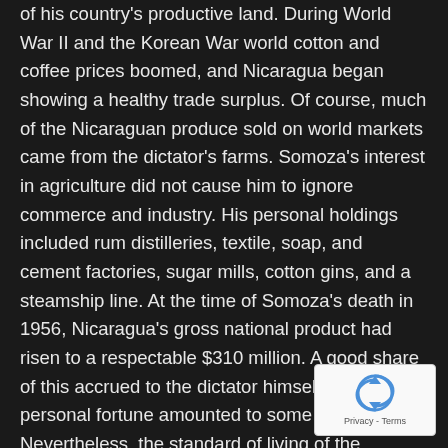of his country's productive land. During World War II and the Korean War world cotton and coffee prices boomed, and Nicaragua began showing a healthy trade surplus. Of course, much of the Nicaraguan produce sold on world markets came from the dictator's farms. Somoza's interest in agriculture did not cause him to ignore commerce and industry. His personal holdings included rum distilleries, textile, soap, and cement factories, sugar mills, cotton gins, and a steamship line. At the time of Somoza's death in 1956, Nicaragua's gross national product had risen to a respectable $310 million. A good share of this accrued to the dictator himself, whose personal fortune amounted to some $60 million. Nevertheless, the standard of living of the average Nicaraguan did not rise appreciably under Somoza, especially during the prosperous 1950's when many schools, hospitals, and roads were built – with the help of American foreign aid.
Nicaraguan economic progress has continued under the regime of Somoza's sons, who also have permitted some political advances. The more obnoxious practices of police